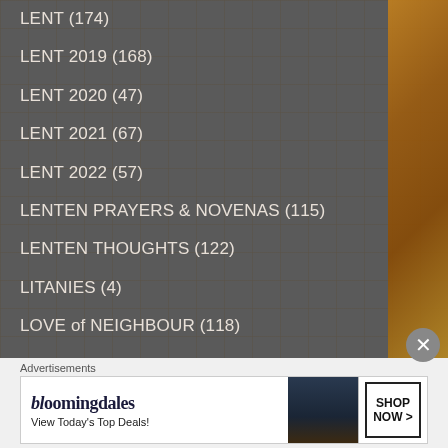LENT (174)
LENT 2019 (168)
LENT 2020 (47)
LENT 2021 (67)
LENT 2022 (57)
LENTEN PRAYERS & NOVENAS (115)
LENTEN THOUGHTS (122)
LITANIES (4)
LOVE of NEIGHBOUR (118)
MARCH the month of ST JOSEPH (18)
MARIAN Antiphons (36)
Advertisements
[Figure (screenshot): Bloomingdale's advertisement banner: 'bloomingdales / View Today's Top Deals!' with woman in hat and 'SHOP NOW >' button]